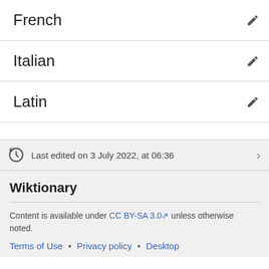French
Italian
Latin
Last edited on 3 July 2022, at 06:36
Wiktionary
Content is available under CC BY-SA 3.0 unless otherwise noted.
Terms of Use • Privacy policy • Desktop